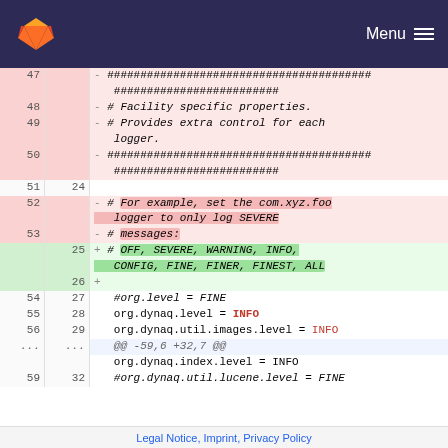GitLab — Menu
| old | new | code |
| --- | --- | --- |
| 47 |  | - ########################################
######################### |
| 48 |  | - # Facility specific properties. |
| 49 |  | - # Provides extra control for each logger. |
| 50 |  | - ########################################
######################### |
| 51 | 24 |  |
| 52 |  | - # For example, set the com.xyz.foo logger to only log SEVERE |
| 53 |  | - # messages: |
|  | 25 | + # OFF, SEVERE, WARNING, INFO, CONFIG, FINE, FINER, FINEST, ALL |
|  | 26 | + |
| 54 | 27 | #org.level = FINE |
| 55 | 28 | org.dynaq.level = INFO |
| 56 | 29 | org.dynaq.util.images.level = INFO |
| ... | ... | @@ -59,6 +32,7 @@ |
|  |  | org.dynaq.index.level = INFO |
| 59 | 32 | #org.dynaq.util.lucene.level = FINE |
Legal Notice, Imprint, Privacy Policy